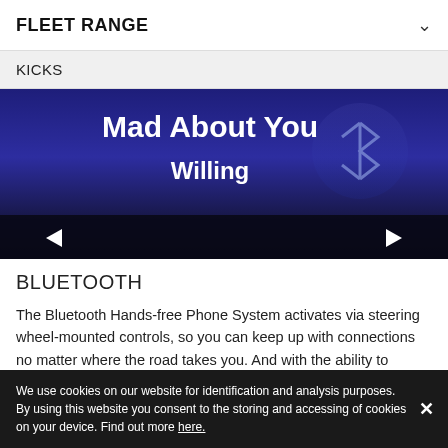FLEET RANGE
KICKS
[Figure (screenshot): Car infotainment screen showing Bluetooth music streaming with 'Mad About You' by Willing, with Bluetooth logo and navigation arrows on left and right sides]
BLUETOOTH
The Bluetooth Hands-free Phone System activates via steering wheel-mounted controls, so you can keep up with connections no matter where the road takes you. And with the ability to stream music straight from your smartphone,
We use cookies on our website for identification and analysis purposes. By using this website you consent to the storing and accessing of cookies on your device. Find out more here.